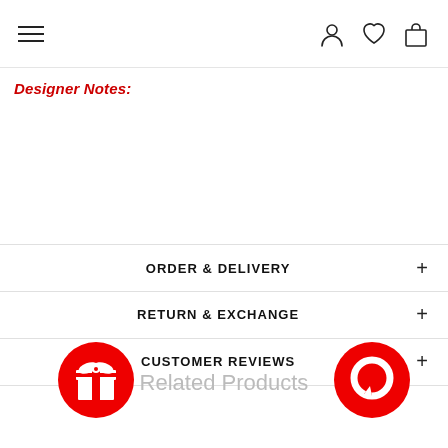Navigation bar with hamburger menu, user, heart, and bag icons
Designer Notes:
ORDER & DELIVERY +
RETURN & EXCHANGE +
CUSTOMER REVIEWS +
Related Products
[Figure (illustration): Red circular button with white gift box icon]
[Figure (illustration): Red circular chat/messaging button icon]